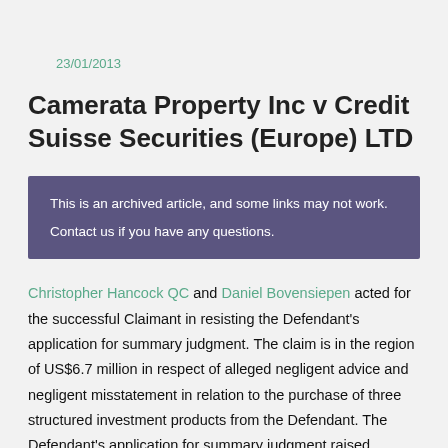23/01/2013
Camerata Property Inc v Credit Suisse Securities (Europe) LTD
This is an archived article, and some links may not work. Contact us if you have any questions.
Christopher Hancock QC and Daniel Bovensiepen acted for the successful Claimant in resisting the Defendant's application for summary judgment. The claim is in the region of US$6.7 million in respect of alleged negligent advice and negligent misstatement in relation to the purchase of three structured investment products from the Defendant. The Defendant's application for summary judgment raised questions of issue estoppel and the legal